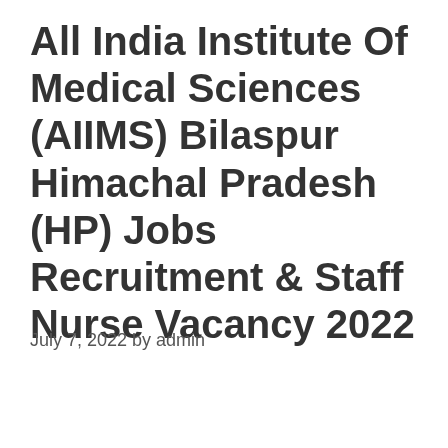All India Institute Of Medical Sciences (AIIMS) Bilaspur Himachal Pradesh (HP) Jobs Recruitment & Staff Nurse Vacancy 2022
July 7, 2022 by admin